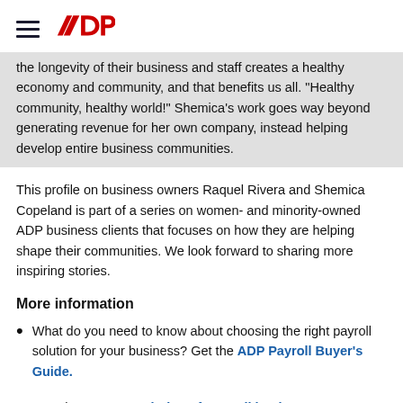ADP logo and navigation menu
the longevity of their business and staff creates a healthy economy and community, and that benefits us all. "Healthy community, healthy world!" Shemica's work goes way beyond generating revenue for her own company, instead helping develop entire business communities.
This profile on business owners Raquel Rivera and Shemica Copeland is part of a series on women- and minority-owned ADP business clients that focuses on how they are helping shape their communities. We look forward to sharing more inspiring stories.
More information
What do you need to know about choosing the right payroll solution for your business? Get the ADP Payroll Buyer's Guide.
Learn about ADP's solutions for small businesses.